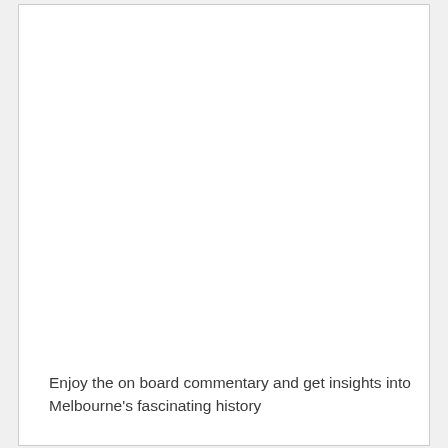Enjoy the on board commentary and get insights into Melbourne's fascinating history